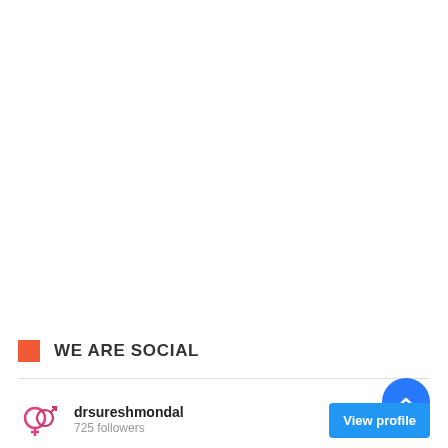WE ARE SOCIAL
[Figure (illustration): Gender/relationship icon — two overlapping circle symbols (female and male) in pink/rose color]
drsureshmondal
725 followers
View profile